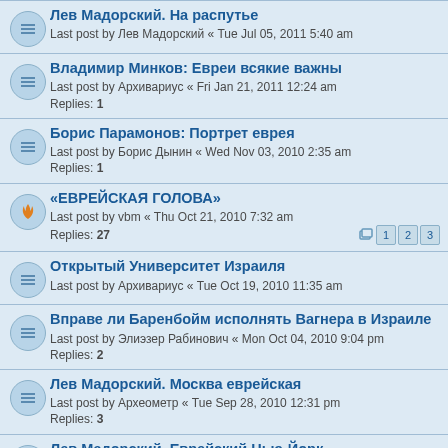Лев Мадорский. На распутье
Last post by Лев Мадорский « Tue Jul 05, 2011 5:40 am
Владимир Минков: Евреи всякие важны
Last post by Архивариус « Fri Jan 21, 2011 12:24 am
Replies: 1
Борис Парамонов: Портрет еврея
Last post by Борис Дынин « Wed Nov 03, 2010 2:35 am
Replies: 1
«ЕВРЕЙСКАЯ ГОЛОВА»
Last post by vbm « Thu Oct 21, 2010 7:32 am
Replies: 27  [pages 1 2 3]
Открытый Университет Израиля
Last post by Архивариус « Tue Oct 19, 2010 11:35 am
Вправе ли Баренбойм исполнять Вагнера в Израиле
Last post by Элиэзер Рабинович « Mon Oct 04, 2010 9:04 pm
Replies: 2
Лев Мадорский. Москва еврейская
Last post by Археометр « Tue Sep 28, 2010 12:31 pm
Replies: 3
Лев Мадорский. Еврейский Нью-Йорк
Last post by Лев Мадорский « Tue Sep 28, 2010 11:02 am